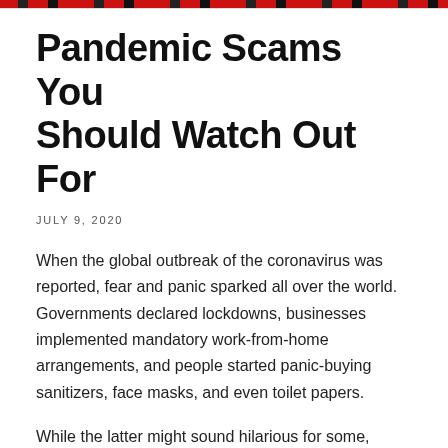Pandemic Scams You Should Watch Out For
JULY 9, 2020
When the global outbreak of the coronavirus was reported, fear and panic sparked all over the world. Governments declared lockdowns, businesses implemented mandatory work-from-home arrangements, and people started panic-buying sanitizers, face masks, and even toilet papers.
While the latter might sound hilarious for some, there's actually a good reason for it. When humans feel threatened, they naturally try to find a way to feel like they are in control of the situation. In this